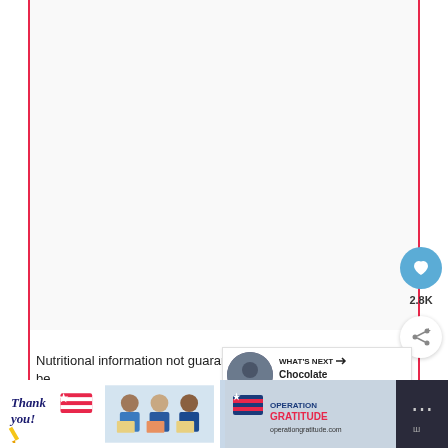[Figure (screenshot): Empty white content area with light gray background, red vertical border lines on left and right sides]
[Figure (infographic): Heart/like button (blue circle with white heart icon) with count 2.8K, and share button below]
Nutritional information not guaranteed to be
[Figure (infographic): What's Next panel showing a thumbnail image and text 'Chocolate Mint Kiss...' with arrow]
AUTHOR
[Figure (infographic): Bottom advertisement banner: Thank you message with Operation Gratitude logo, showing people in masks holding boxes]